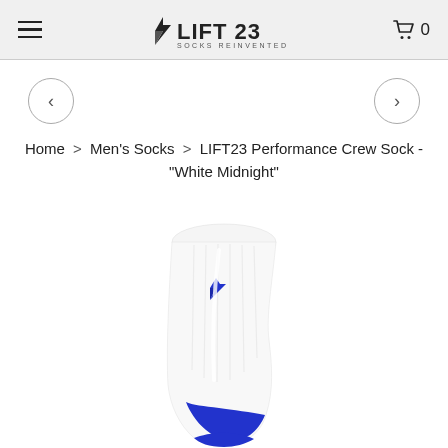LIFT 23 SOCKS REINVENTED — Cart: 0
Home > Men's Socks > LIFT23 Performance Crew Sock - "White Midnight"
[Figure (photo): White and blue LIFT23 Performance Crew Sock displayed on a white background, showing the upper calf portion with a blue LIFT23 logo on the front and blue accent near the heel/ankle area.]